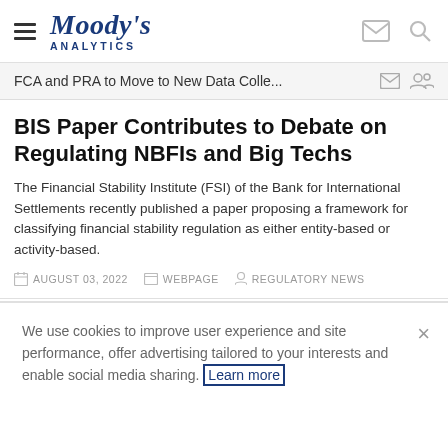Moody's Analytics
FCA and PRA to Move to New Data Colle...
BIS Paper Contributes to Debate on Regulating NBFIs and Big Techs
The Financial Stability Institute (FSI) of the Bank for International Settlements recently published a paper proposing a framework for classifying financial stability regulation as either entity-based or activity-based.
AUGUST 03, 2022   WEBPAGE   REGULATORY NEWS
We use cookies to improve user experience and site performance, offer advertising tailored to your interests and enable social media sharing. Learn more